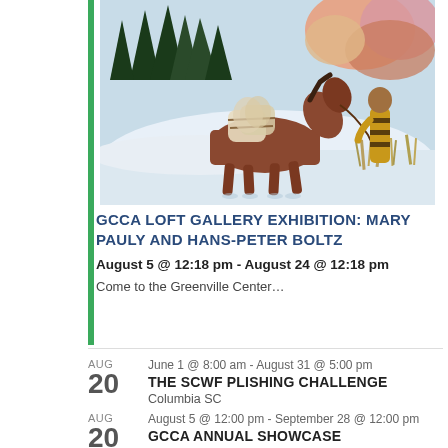[Figure (illustration): Painting of a Native American person in traditional clothing leading a pack horse through a snowy winter landscape with evergreen trees and pink/orange foliage in background]
GCCA LOFT GALLERY EXHIBITION: MARY PAULY AND HANS-PETER BOLTZ
August 5 @ 12:18 pm - August 24 @ 12:18 pm
Come to the Greenville Center…
June 1 @ 8:00 am - August 31 @ 5:00 pm
THE SCWF PLISHING CHALLENGE
Columbia SC
August 5 @ 12:00 pm - September 28 @ 12:00 pm
GCCA ANNUAL SHOWCASE